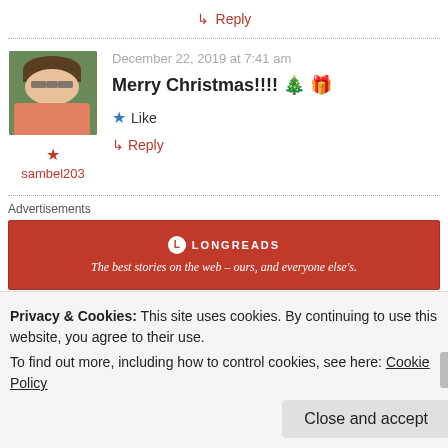↳ Reply
December 22, 2019 at 7:41 am
Merry Christmas!!!! 🎄 🎁
★ sambel203
★ Like
↳ Reply
Advertisements
[Figure (logo): Longreads advertisement banner: red background with Longreads logo and tagline 'The best stories on the web — ours, and everyone else's.']
Privacy & Cookies: This site uses cookies. By continuing to use this website, you agree to their use. To find out more, including how to control cookies, see here: Cookie Policy
Close and accept